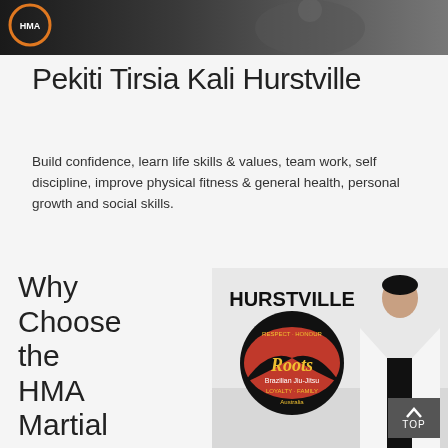[Figure (photo): Banner photo of a martial artist in dark background with HMA logo in top left corner]
Pekiti Tirsia Kali Hurstville
Build confidence, learn life skills & values, team work, self discipline, improve physical fitness & general health, personal growth and social skills.
Why Choose the HMA Martial Arts School?
[Figure (photo): Photo of a martial arts instructor in white gi standing in front of Roots Brazilian Jiu-Jitsu Hurstville sign, with values: Respect, Honour, Loyalty, Family, Australia]